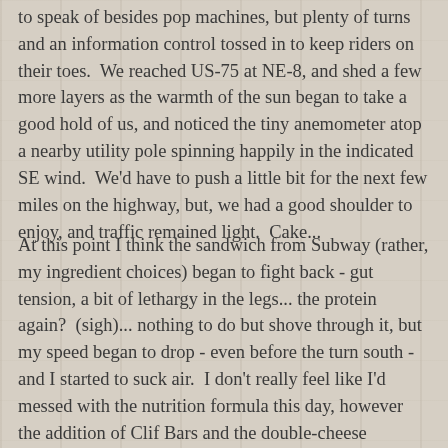to speak of besides pop machines, but plenty of turns and an information control tossed in to keep riders on their toes.  We reached US-75 at NE-8, and shed a few more layers as the warmth of the sun began to take a good hold of us, and noticed the tiny anemometer atop a nearby utility pole spinning happily in the indicated SE wind.  We'd have to push a little bit for the next few miles on the highway, but, we had a good shoulder to enjoy, and traffic remained light.  Cake...
At this point I think the sandwich from Subway (rather, my ingredient choices) began to fight back - gut tension, a bit of lethargy in the legs... the protein again?  (sigh)... nothing to do but shove through it, but my speed began to drop - even before the turn south - and I started to suck air.  I don't really feel like I'd messed with the nutrition formula this day, however the addition of Clif Bars and the double-cheese sandwich may have thrown me for a loop, somehow.  Hammer Gel and my liquid Carbo Gain mix had been working well, so I eventually employed only those items - but for a while, it seemed the addition of any protein simply slowed me down.  Things could have been far worse,